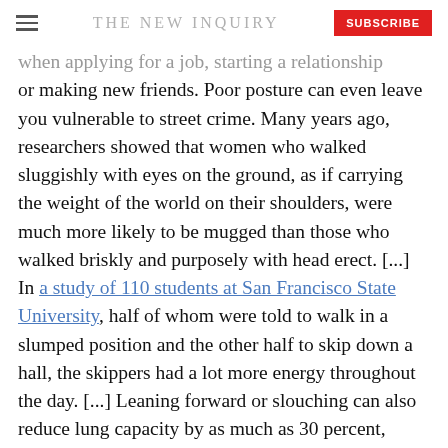THE NEW INQUIRY | SUBSCRIBE
when applying for a job, starting a relationship or making new friends. Poor posture can even leave you vulnerable to street crime. Many years ago, researchers showed that women who walked sluggishly with eyes on the ground, as if carrying the weight of the world on their shoulders, were much more likely to be mugged than those who walked briskly and purposely with head erect. [...] In a study of 110 students at San Francisco State University, half of whom were told to walk in a slumped position and the other half to skip down a hall, the skippers had a lot more energy throughout the day. [...] Leaning forward or slouching can also reduce lung capacity by as much as 30 percent, reducing the amount of oxygen that reaches body tissues